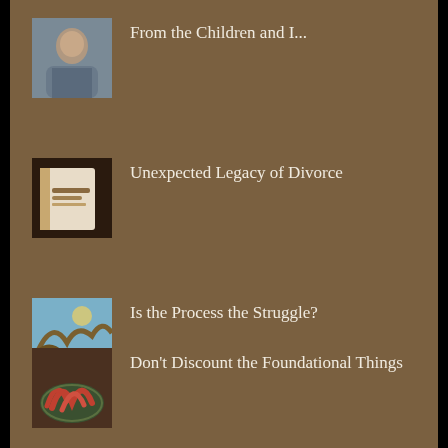From the Children and I...
Unexpected Legacy of Divorce
Is the Process the Struggle?
Don't Discount the Foundational Things